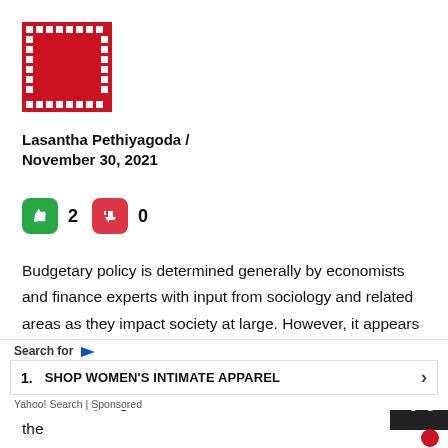[Figure (logo): Red square logo with white diamond/dot pattern border and large red S shape in center]
Lasantha Pethiyagoda / November 30, 2021
[Figure (infographic): Green thumbs-up button with count 2, red thumbs-down button with count 0]
Budgetary policy is determined generally by economists and finance experts with input from sociology and related areas as they impact society at large. However, it appears that this budget was more about empty boasting and shameless praising of a family, with a rich mix of falsities thus attempting to normalize a return to a monarchy from the
Search for
1. SHOP WOMEN'S INTIMATE APPAREL
Yahoo! Search | Sponsored